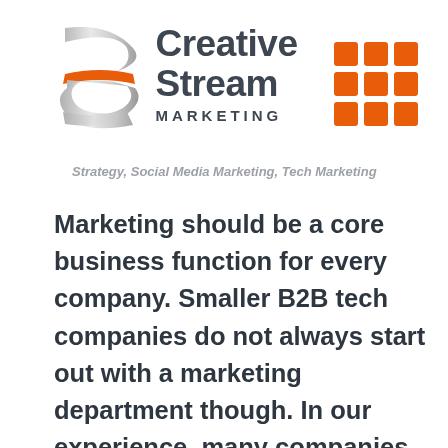[Figure (logo): Creative Stream Marketing logo with stylized silver S-shape icon and orange band, beside grid of 9 orange squares icon]
Strategy, Social Media Marketing, Tech Marketing
Marketing should be a core business function for every company. Smaller B2B tech companies do not always start out with a marketing department though. In our experience, many companies don't possess a marketing plan until they've landed a handful of clients. It makes...